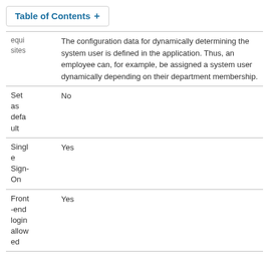Table of Contents +
| Field | Value |
| --- | --- |
| equi sites | The configuration data for dynamically determining the system user is defined in the application. Thus, an employee can, for example, be assigned a system user dynamically depending on their department membership. |
| Set as default | No |
| Single Sign-On | Yes |
| Front-end login allowed | Yes |